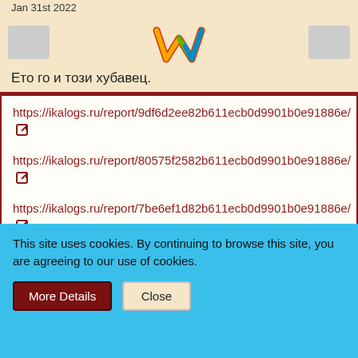Jan 31st 2022
Ето го и този хубавец.
https://ikalogs.ru/report/9df6d2ee82b611ecb0d9901b0e91886e/
https://ikalogs.ru/report/80575f2582b611ecb0d9901b0e91886e/
https://ikalogs.ru/report/7be6ef1d82b611ecb0d9901b0e91886e/
https://ikalogs.ru/report/e4caf6e382b111ecb0d9901b0e91886e/
https://ikalogs.ru/report/e044eeff82b111ecb0d9901b0e91886e/
This site uses cookies. By continuing to browse this site, you are agreeing to our use of cookies.